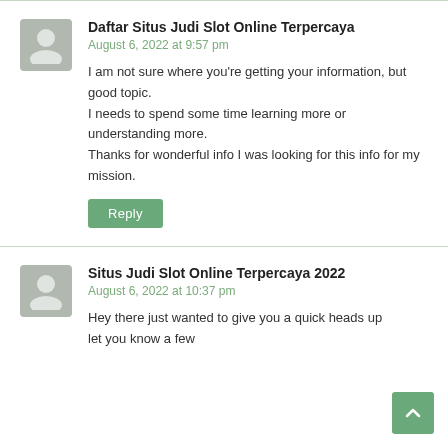Daftar Situs Judi Slot Online Terpercaya
August 6, 2022 at 9:57 pm
I am not sure where you're getting your information, but good topic.
I needs to spend some time learning more or understanding more.
Thanks for wonderful info I was looking for this info for my mission.
Situs Judi Slot Online Terpercaya 2022
August 6, 2022 at 10:37 pm
Hey there just wanted to give you a quick heads up let you know a few